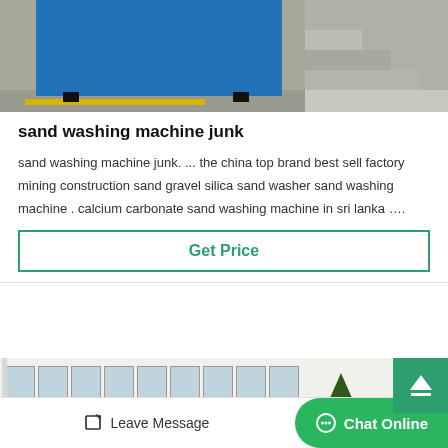[Figure (photo): Photo of a blue industrial sand washing machine on a concrete surface with yellow painted lines, stairs visible on the right side]
sand washing machine junk
sand washing machine junk. ... the china top brand best sell factory mining construction sand gravel silica sand washer sand washing machine . calcium carbonate sand washing machine in sri lanka ….
Get Price
[Figure (photo): Photo of a factory building exterior with large windows and a tree in front]
Leave Message
Chat Online